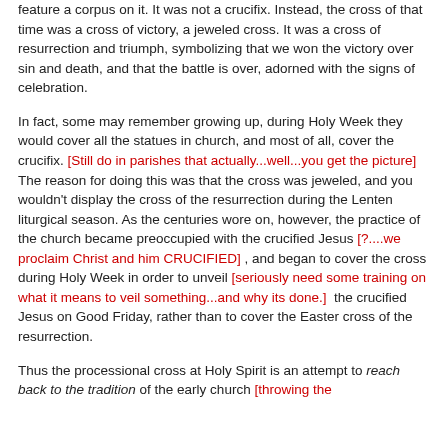feature a corpus on it. It was not a crucifix. Instead, the cross of that time was a cross of victory, a jeweled cross. It was a cross of resurrection and triumph, symbolizing that we won the victory over sin and death, and that the battle is over, adorned with the signs of celebration.
In fact, some may remember growing up, during Holy Week they would cover all the statues in church, and most of all, cover the crucifix. [Still do in parishes that actually...well...you get the picture]  The reason for doing this was that the cross was jeweled, and you wouldn't display the cross of the resurrection during the Lenten liturgical season. As the centuries wore on, however, the practice of the church became preoccupied with the crucified Jesus [?....we proclaim Christ and him CRUCIFIED] , and began to cover the cross during Holy Week in order to unveil [seriously need some training on what it means to veil something...and why its done.]  the crucified Jesus on Good Friday, rather than to cover the Easter cross of the resurrection.
Thus the processional cross at Holy Spirit is an attempt to reach back to the tradition of the early church [throwing the